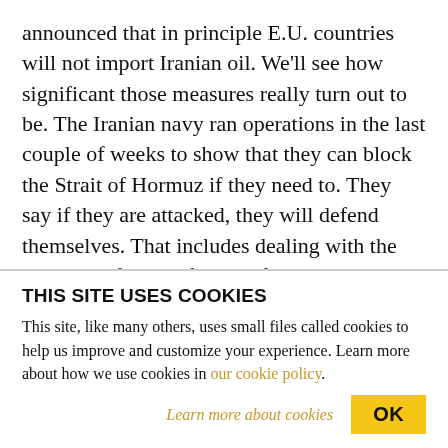announced that in principle E.U. countries will not import Iranian oil. We'll see how significant those measures really turn out to be. The Iranian navy ran operations in the last couple of weeks to show that they can block the Strait of Hormuz if they need to. They say if they are attacked, they will defend themselves. That includes dealing with the stopping of most of the oil from the Middle East that travels by boat through the Strait of Hormuz. All of this is being justified based on the recent IAEA report, which some people are suggesting has the IAEA
THIS SITE USES COOKIES
This site, like many others, uses small files called cookies to help us improve and customize your experience. Learn more about how we use cookies in our cookie policy.
Learn more about cookies
OK